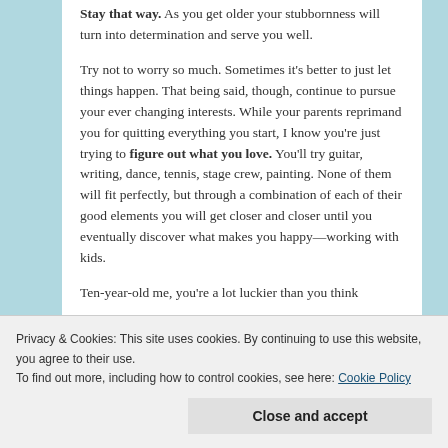Stay that way. As you get older your stubbornness will turn into determination and serve you well.
Try not to worry so much. Sometimes it's better to just let things happen. That being said, though, continue to pursue your ever changing interests. While your parents reprimand you for quitting everything you start, I know you're just trying to figure out what you love. You'll try guitar, writing, dance, tennis, stage crew, painting. None of them will fit perfectly, but through a combination of each of their good elements you will get closer and closer until you eventually discover what makes you happy—working with kids.
Ten-year-old me, you're a lot luckier than you think
Privacy & Cookies: This site uses cookies. By continuing to use this website, you agree to their use. To find out more, including how to control cookies, see here: Cookie Policy